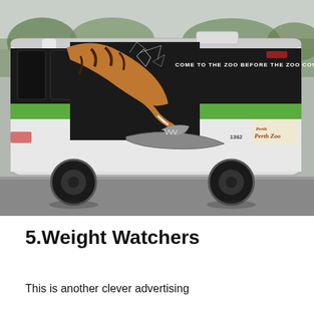[Figure (photo): Photograph of a public bus (Perth Zoo advertisement) with a striking tiger breaking through the bus side graphic, with text 'COME TO THE ZOO BEFORE THE ZOO COMES TO YOU' and Perth Zoo branding. Bus number 1362 visible.]
5.Weight Watchers
This is another clever advertising